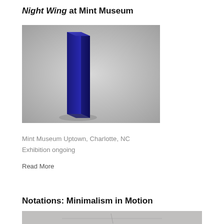Night Wing at Mint Museum
[Figure (photo): A tall, narrow blue rectangular sculpture standing upright on a light grey background. The sculpture is a deep cobalt blue and casts a subtle shadow.]
Mint Museum Uptown, Charlotte, NC
Exhibition ongoing
Read More
Notations: Minimalism in Motion
[Figure (photo): Partial view of a minimalist artwork or installation, grey tones, cropped at bottom of page.]